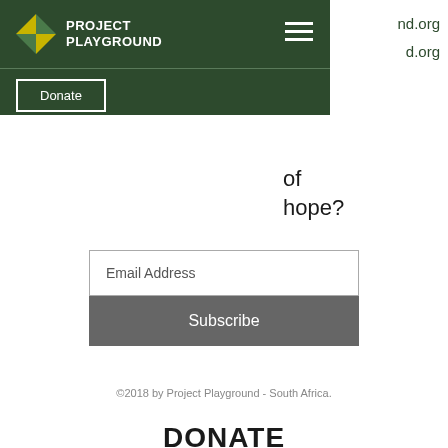PROJECT PLAYGROUND
nd.org
d.org
of hope?
Email Address
Subscribe
©2018 by Project Playground - South Africa.
DONATE
FNB Business Account
Account Number: 62819574189
Branch Code: 255355
Account Holder: Project Playground Trust